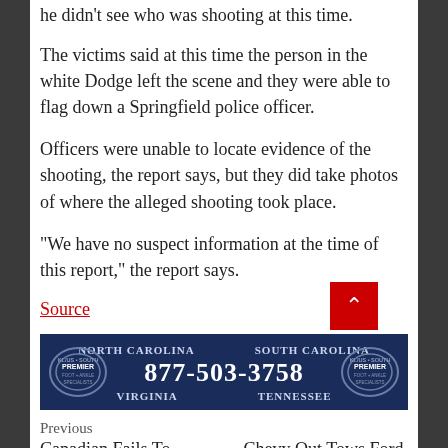he didn't see who was shooting at this time.
The victims said at this time the person in the white Dodge left the scene and they were able to flag down a Springfield police officer.
Officers were unable to locate evidence of the shooting, the report says, but they did take photos of where the alleged shooting took place.
“We have no suspect information at the time of this report,” the report says.
Source
[Figure (other): Advertisement banner for Premier with phone number 877-503-3758 serving North Carolina, South Carolina, Virginia, Tennessee]
Previous
Canadian Fails To
Chevy Out Tows Ford,